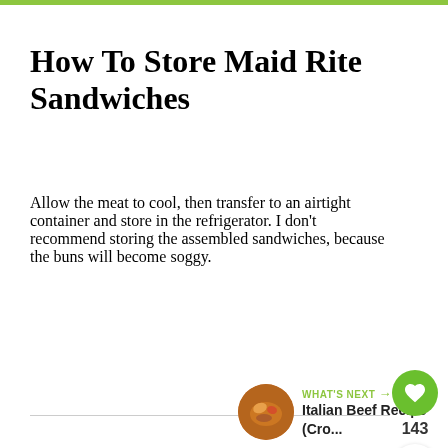How To Store Maid Rite Sandwiches
Allow the meat to cool, then transfer to an airtight container and store in the refrigerator. I don't recommend storing the assembled sandwiches, because the buns will become soggy.
[Figure (illustration): Green heart like button with count 143, and a share button below it]
WHAT'S NEXT → Italian Beef Recipe (Cro...